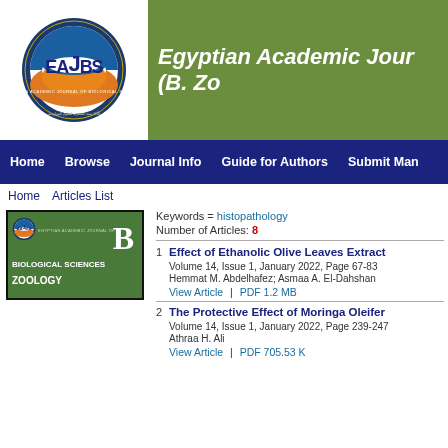[Figure (logo): EAJBS circular logo with orange/blue design and navigation bar for Egyptian Academic Journal of Biological Sciences]
Egyptian Academic Journal of Biological Sciences (B. Zoology)
Home  Browse  Journal Info  Guide for Authors  Submit Manuscript
Home   Articles List
[Figure (photo): Journal cover image for Egyptian Academic Journal of Biological Sciences - Zoology, green cover with EAJBS logo and large B letter]
Keywords = histopathology
Number of Articles: 8
1  Effect of Ethanolic Olive Leaves Extract...
Volume 14, Issue 1, January 2022, Page 67-83
Hemmat M. Abdelhafez; Asmaa A. El-Dahshan
View Article | PDF 1.2 MB
2  The Protective Effect of Moringa Oleifer...
Volume 14, Issue 1, January 2022, Page 239-247
Athraa H. Ali
View Article | PDF 705.53 K